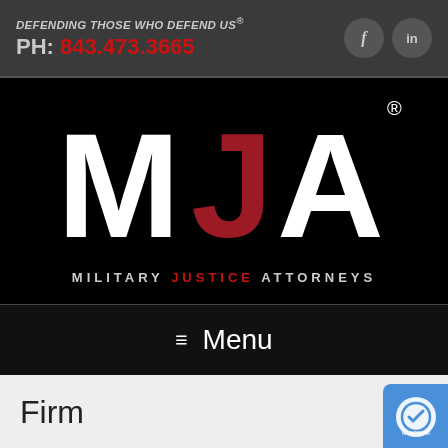DEFENDING THOSE WHO DEFEND US® PH: 843.473.3665
[Figure (logo): MJA Military Justice Attorneys logo — large white M, red J, white A letters on black background with registered trademark symbol. Below: MILITARY JUSTICE ATTORNEYS text.]
≡  Menu
Firm